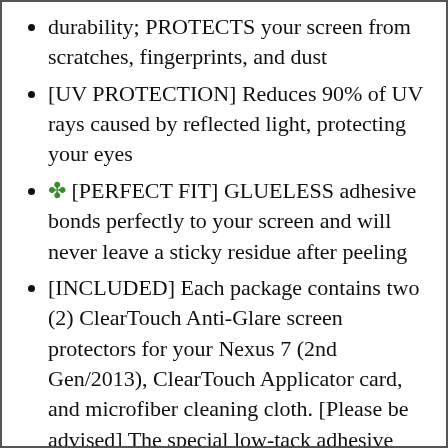durability; PROTECTS your screen from scratches, fingerprints, and dust
[UV PROTECTION] Reduces 90% of UV rays caused by reflected light, protecting your eyes
✤ [PERFECT FIT] GLUELESS adhesive bonds perfectly to your screen and will never leave a sticky residue after peeling
[INCLUDED] Each package contains two (2) ClearTouch Anti-Glare screen protectors for your Nexus 7 (2nd Gen/2013), ClearTouch Applicator card, and microfiber cleaning cloth. [Please be advised] The special low-tack adhesive takes a little time to fully adhere around the edges and when it does, the air gaps